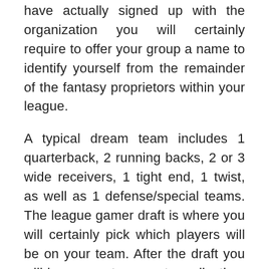have actually signed up with the organization you will certainly require to offer your group a name to identify yourself from the remainder of the fantasy proprietors within your league.
A typical dream team includes 1 quarterback, 2 running backs, 2 or 3 wide receivers, 1 tight end, 1 twist, as well as 1 defense/special teams. The league gamer draft is where you will certainly pick which players will be on your team. After the draft you will have your team roster collection. Among the very first points you will require to discover in how to play fantasy football is producing your very own cheat sheet. Scoring in the fantasy version of football is based upon a predetermined factors